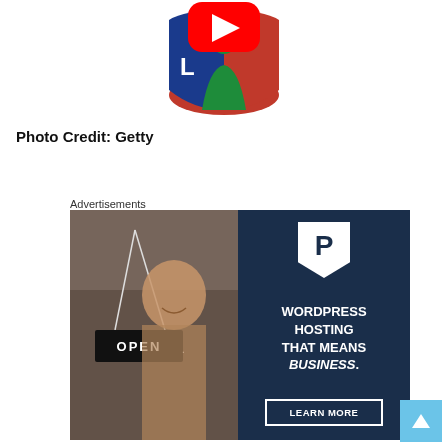[Figure (logo): YouTube play button icon overlaid on a stylized figure logo with blue, red, and green colors]
Photo Credit: Getty
Advertisements
[Figure (illustration): WordPress hosting advertisement banner showing a woman holding an OPEN sign on the left side and dark navy right side with text: WORDPRESS HOSTING THAT MEANS BUSINESS. with a LEARN MORE button and a 'P' logo]